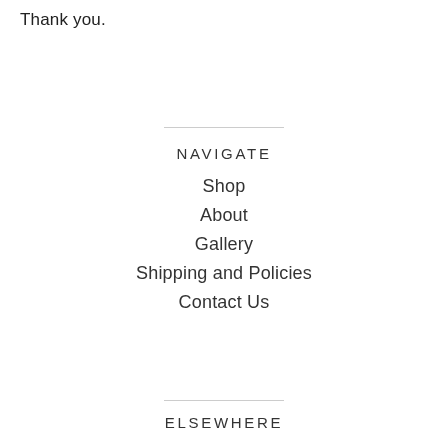Thank you.
NAVIGATE
Shop
About
Gallery
Shipping and Policies
Contact Us
ELSEWHERE